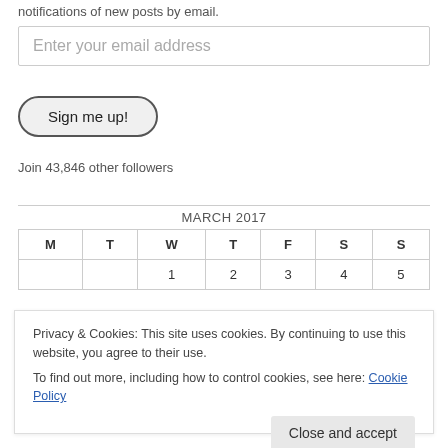notifications of new posts by email.
Enter your email address
Sign me up!
Join 43,846 other followers
| M | T | W | T | F | S | S |
| --- | --- | --- | --- | --- | --- | --- |
|  |  | 1 | 2 | 3 | 4 | 5 |
Privacy & Cookies: This site uses cookies. By continuing to use this website, you agree to their use.
To find out more, including how to control cookies, see here: Cookie Policy